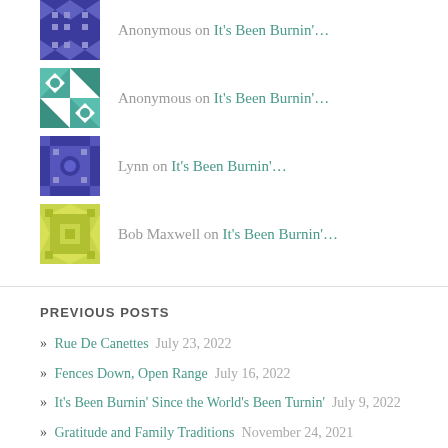Anonymous on It's Been Burnin'…
Lynn on It's Been Burnin'…
Bob Maxwell on It's Been Burnin'…
PREVIOUS POSTS
» Rue De Canettes  July 23, 2022
» Fences Down, Open Range  July 16, 2022
» It's Been Burnin' Since the World's Been Turnin'  July 9, 2022
» Gratitude and Family Traditions  November 24, 2021
» Who's Bucket List?  June 22, 2021